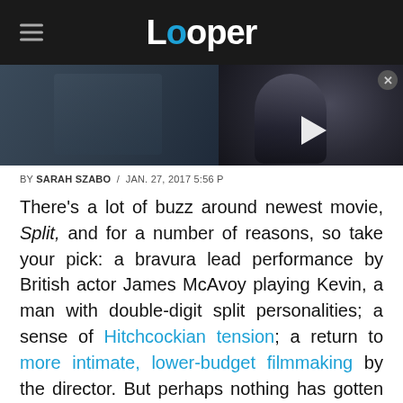Looper
[Figure (screenshot): Dark cinematic image on left, video thumbnail on right showing animated dark figure, with play button overlay]
BY SARAH SZABO / JAN. 27, 2017 5:56 P
There's a lot of buzz around newest movie, Split, and for a number of reasons, so take your pick: a bravura lead performance by British actor James McAvoy playing Kevin, a man with double-digit split personalities; a sense of Hitchcockian tension; a return to more intimate, lower-budget filmmaking by the director. But perhaps nothing has gotten people more excited than the reveal at the end that—spoilers ahead!—